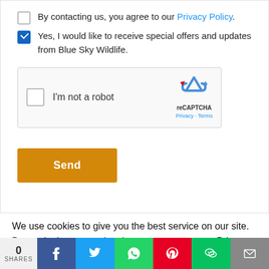By contacting us, you agree to our Privacy Policy.
Yes, I would like to receive special offers and updates from Blue Sky Wildlife.
[Figure (other): reCAPTCHA widget with 'I'm not a robot' checkbox, reCAPTCHA logo, Privacy and Terms links]
Send
We use cookies to give you the best service on our site. By continuing to use the site you consent to our Privacy Policy.
Read More
ACCEPT
0 SHARES